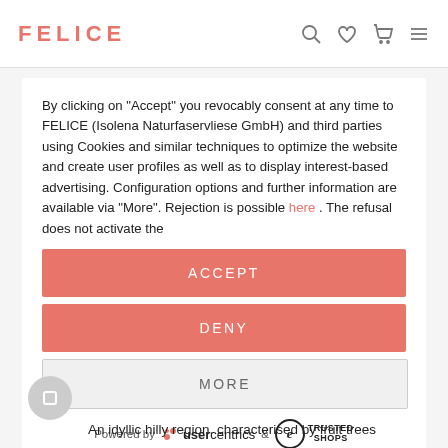FELICE
By clicking on "Accept" you revocably consent at any time to FELICE (Isolena Naturfaservliese GmbH) and third parties using Cookies and similar techniques to optimize the website and create user profiles as well as to display interest-based advertising. Configuration options and further information are available via "More". Rejection is possible here . The refusal does not activate the
ACCEPT
DENY
MORE
Powered by usercentrics & Trusted Shops
An idyllic hilly region, characterised by fruit trees